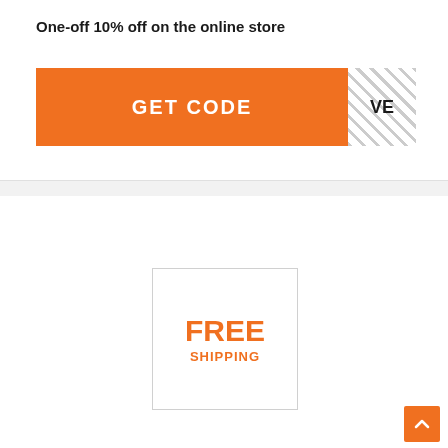One-off 10% off on the online store
[Figure (other): Orange GET CODE button with hatched box showing 'VE' on the right side]
[Figure (other): Box with FREE SHIPPING text in orange, bordered rectangle]